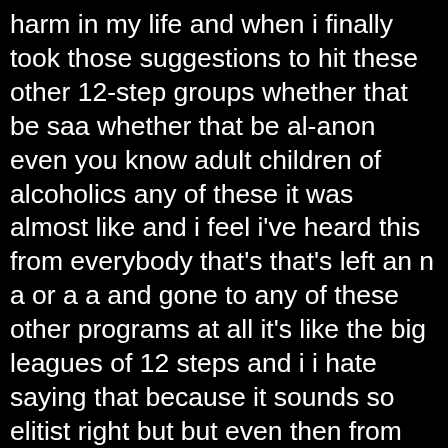harm in my life and when i finally took those suggestions to hit these other 12-step groups whether that be saa whether that be al-anon even you know adult children of alcoholics any of these it was almost like and i feel i've heard this from everybody that's that's left an n a or a a and gone to any of these other programs at all it's like the big leagues of 12 steps and i i hate saying that because it sounds so elitist right but but even then from there kind of like you're talking about like these intensive therapies and this it all just seems to be almost steps and levels into a progression of it's not like it's better information it's just more and deeper and and i hate to say that i'm not i know i'm offending everyone that like only only does n a right now but it's just it's one of those things it's it's